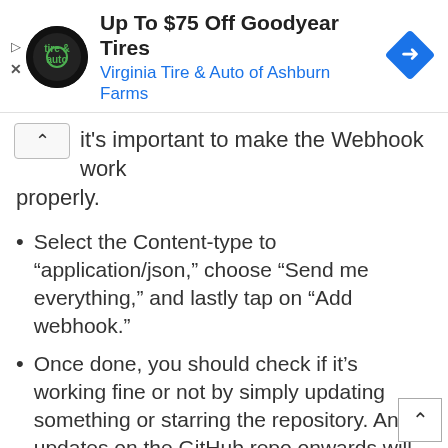[Figure (other): Advertisement banner: 'Up To $75 Off Goodyear Tires - Virginia Tire & Auto of Ashburn Farms' with circular tire & auto logo and blue diamond navigation icon]
it's important to make the Webhook work properly.
Select the Content-type to “application/json,” choose “Send me everything,” and lastly tap on “Add webhook.”
Once done, you should check if it’s working fine or not by simply updating something or starring the repository. Any updates on the GitHub repo onwards will show up to your Discord text channel.